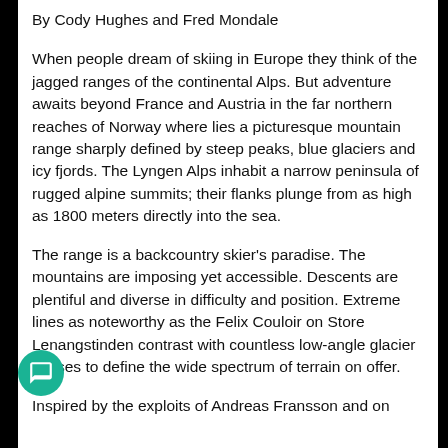By Cody Hughes and Fred Mondale
When people dream of skiing in Europe they think of the jagged ranges of the continental Alps. But adventure awaits beyond France and Austria in the far northern reaches of Norway where lies a picturesque mountain range sharply defined by steep peaks, blue glaciers and icy fjords. The Lyngen Alps inhabit a narrow peninsula of rugged alpine summits; their flanks plunge from as high as 1800 meters directly into the sea.
The range is a backcountry skier's paradise. The mountains are imposing yet accessible. Descents are plentiful and diverse in difficulty and position. Extreme lines as noteworthy as the Felix Couloir on Store Lenangstinden contrast with countless low-angle glacier cruises to define the wide spectrum of terrain on offer.
Inspired by the exploits of Andreas Fransson and on